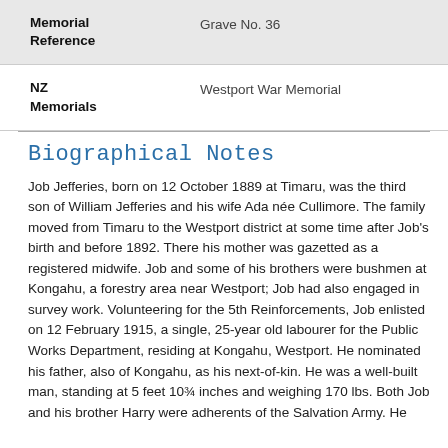| Field | Value |
| --- | --- |
| Memorial Reference | Grave No. 36 |
| NZ Memorials | Westport War Memorial |
Biographical Notes
Job Jefferies, born on 12 October 1889 at Timaru, was the third son of William Jefferies and his wife Ada née Cullimore. The family moved from Timaru to the Westport district at some time after Job's birth and before 1892. There his mother was gazetted as a registered midwife. Job and some of his brothers were bushmen at Kongahu, a forestry area near Westport; Job had also engaged in survey work. Volunteering for the 5th Reinforcements, Job enlisted on 12 February 1915, a single, 25-year old labourer for the Public Works Department, residing at Kongahu, Westport. He nominated his father, also of Kongahu, as his next-of-kin. He was a well-built man, standing at 5 feet 10¾ inches and weighing 170 lbs. Both Job and his brother Harry were adherents of the Salvation Army. He